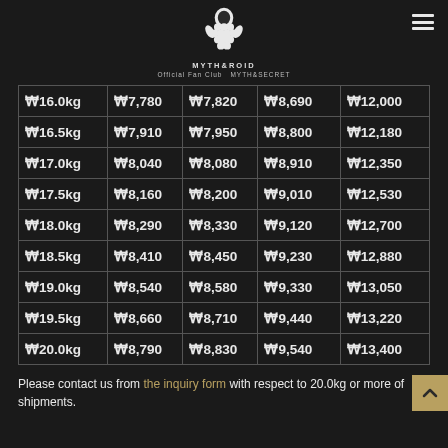MYTH&ROID Official Fan Club MYTH&SECRET
| ¥16.0kg | ¥7,780 | ¥7,820 | ¥8,690 | ¥12,000 |
| ¥16.5kg | ¥7,910 | ¥7,950 | ¥8,800 | ¥12,180 |
| ¥17.0kg | ¥8,040 | ¥8,080 | ¥8,910 | ¥12,350 |
| ¥17.5kg | ¥8,160 | ¥8,200 | ¥9,010 | ¥12,530 |
| ¥18.0kg | ¥8,290 | ¥8,330 | ¥9,120 | ¥12,700 |
| ¥18.5kg | ¥8,410 | ¥8,450 | ¥9,230 | ¥12,880 |
| ¥19.0kg | ¥8,540 | ¥8,580 | ¥9,330 | ¥13,050 |
| ¥19.5kg | ¥8,660 | ¥8,710 | ¥9,440 | ¥13,220 |
| ¥20.0kg | ¥8,790 | ¥8,830 | ¥9,540 | ¥13,400 |
Please contact us from the inquiry form with respect to 20.0kg or more of shipments.